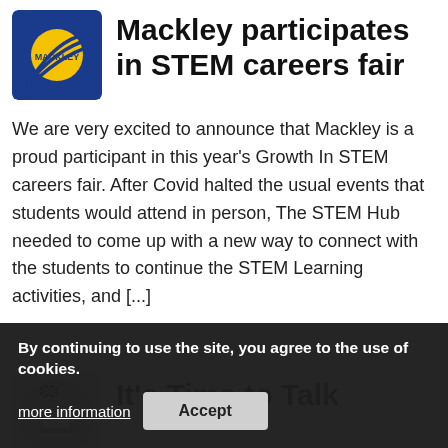[Figure (logo): Mackley company logo — blue background with yellow circle and geometric lines]
Mackley participates in STEM careers fair
We are very excited to announce that Mackley is a proud participant in this year's Growth In STEM careers fair. After Covid halted the usual events that students would attend in person, The STEM Hub needed to come up with a new way to connect with the students to continue the STEM Learning activities, and [...]
[Figure (logo): It's Time to Talk article logo — circular image with coffee cup]
It's Time to Talk
In the construction m... by suicide than women and in 2020 a report by the Chartered Institute of Building stated that 26% of
By continuing to use the site, you agree to the use of cookies.
more information
Accept